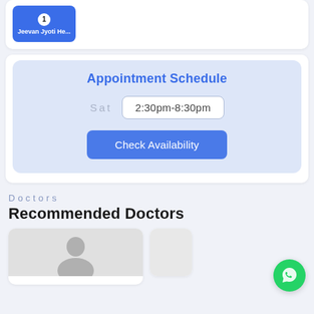[Figure (screenshot): Blue card thumbnail showing number 1 badge and text 'Jeevan Jyoti He...']
Appointment Schedule
Sat   2:30pm-8:30pm
Check Availability
Doctors
Recommended Doctors
[Figure (photo): Doctor card with placeholder silhouette image at bottom]
[Figure (photo): Partial doctor card visible on right side]
[Figure (other): WhatsApp floating action button (green circle with phone/chat icon)]